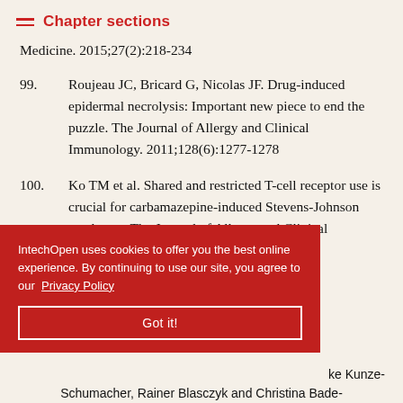Chapter sections
Medicine. 2015;27(2):218-234
99. Roujeau JC, Bricard G, Nicolas JF. Drug-induced epidermal necrolysis: Important new piece to end the puzzle. The Journal of Allergy and Clinical Immunology. 2011;128(6):1277-1278
100. Ko TM et al. Shared and restricted T-cell receptor use is crucial for carbamazepine-induced Stevens-Johnson syndrome. The Journal of Allergy and Clinical Immunology. 2011;128(6):1266-1276.e11
IntechOpen uses cookies to offer you the best online experience. By continuing to use our site, you agree to our Privacy Policy
Got it!
ke Kunze-Schumacher, Rainer Blasczyk and Christina Bade-